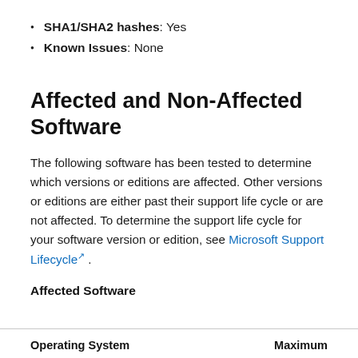SHA1/SHA2 hashes: Yes
Known Issues: None
Affected and Non-Affected Software
The following software has been tested to determine which versions or editions are affected. Other versions or editions are either past their support life cycle or are not affected. To determine the support life cycle for your software version or edition, see Microsoft Support Lifecycle .
Affected Software
| Operating System | Maximum |
| --- | --- |